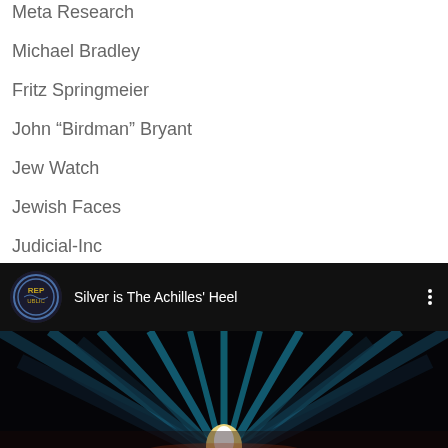Meta Research
Michael Bradley
Fritz Springmeier
John “Birdman” Bryant
Jew Watch
Jewish Faces
Judicial-Inc
[Figure (screenshot): YouTube video thumbnail showing 'Silver is The Achilles' Heel' with a dark background featuring radiating blue light beams and a central light source, with a channel logo on the left]